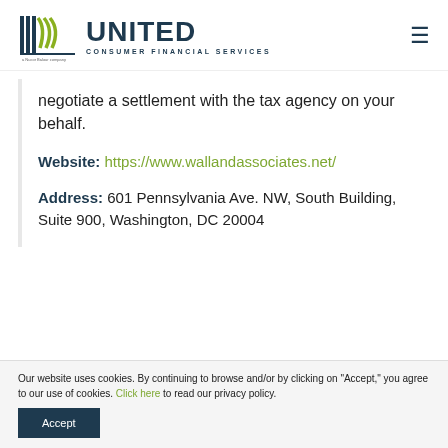United Consumer Financial Services
negotiate a settlement with the tax agency on your behalf.
Website: https://www.wallandassociates.net/
Address: 601 Pennsylvania Ave. NW, South Building, Suite 900, Washington, DC 20004
Our website uses cookies. By continuing to browse and/or by clicking on "Accept," you agree to our use of cookies. Click here to read our privacy policy.